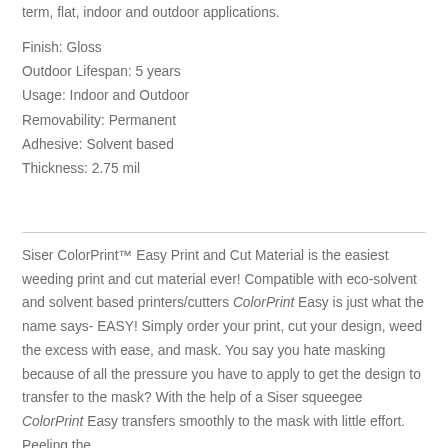term, flat, indoor and outdoor applications.
Finish: Gloss
Outdoor Lifespan: 5 years
Usage: Indoor and Outdoor
Removability: Permanent
Adhesive: Solvent based
Thickness: 2.75 mil
Siser ColorPrint™ Easy Print and Cut Material is the easiest weeding print and cut material ever! Compatible with eco-solvent and solvent based printers/cutters ColorPrint Easy is just what the name says- EASY! Simply order your print, cut your design, weed the excess with ease, and mask. You say you hate masking because of all the pressure you have to apply to get the design to transfer to the mask? With the help of a Siser squeegee ColorPrint Easy transfers smoothly to the mask with little effort. Peeling the